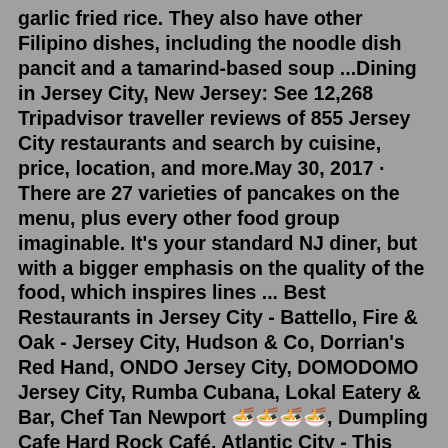garlic fried rice. They also have other Filipino dishes, including the noodle dish pancit and a tamarind-based soup ...Dining in Jersey City, New Jersey: See 12,268 Tripadvisor traveller reviews of 855 Jersey City restaurants and search by cuisine, price, location, and more.May 30, 2017 · There are 27 varieties of pancakes on the menu, plus every other food group imaginable. It's your standard NJ diner, but with a bigger emphasis on the quality of the food, which inspires lines ... Best Restaurants in Jersey City - Battello, Fire & Oak - Jersey City, Hudson & Co, Dorrian's Red Hand, ONDO Jersey City, DOMODOMO Jersey City, Rumba Cubana, Lokal Eatery & Bar, Chef Tan Newport 🍜🍜🍜🍜, Dumpling Cafe Hard Rock Café, Atlantic City - This classic theme restaurant chain has made its home in Atlantic City for years, and has become somewhat of a local favorite. If you love rock music and classic American cuisine, then it's definitely worth a stop. The Garlic Rose, Cranford - If you love garlic, then you're going